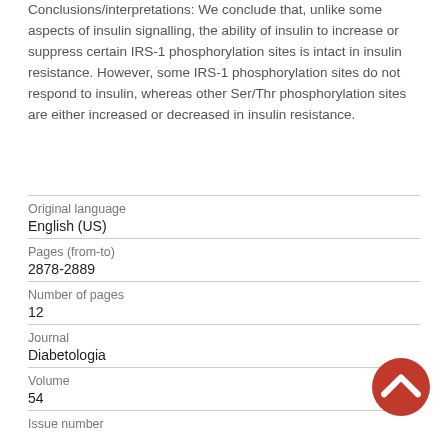Conclusions/interpretation: We conclude that, unlike some aspects of insulin signalling, the ability of insulin to increase or suppress certain IRS-1 phosphorylation sites is intact in insulin resistance. However, some IRS-1 phosphorylation sites do not respond to insulin, whereas other Ser/Thr phosphorylation sites are either increased or decreased in insulin resistance.
| Field | Value |
| --- | --- |
| Original language | English (US) |
| Pages (from-to) | 2878-2889 |
| Number of pages | 12 |
| Journal | Diabetologia |
| Volume | 54 |
| Issue number |  |